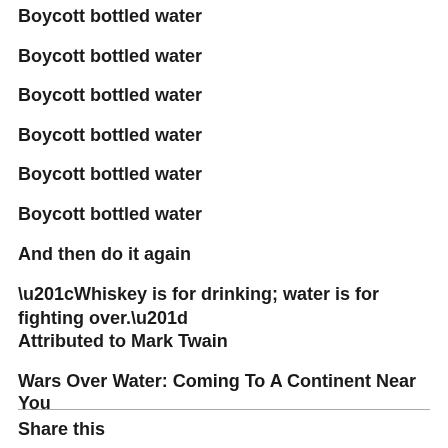Boycott bottled water
Boycott bottled water
Boycott bottled water
Boycott bottled water
Boycott bottled water
Boycott bottled water
And then do it again
“Whiskey is for drinking; water is for fighting over.” Attributed to Mark Twain
Wars Over Water:  Coming To A Continent Near You
Share this